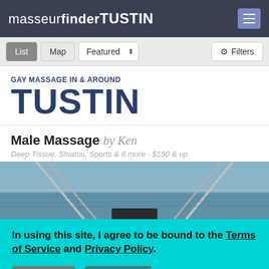masseurfinderTUSTIN
GAY MASSAGE IN & AROUND TUSTIN
Male Massage by Ken
Deep Tissue, Shiatsu, Sports & 6 more · $150 & up
[Figure (photo): Ocean horizon photo viewed from a boat deck with rails visible]
In using this site, I agree to be bound to the Terms of Service and Privacy Policy.
Leave   I agree